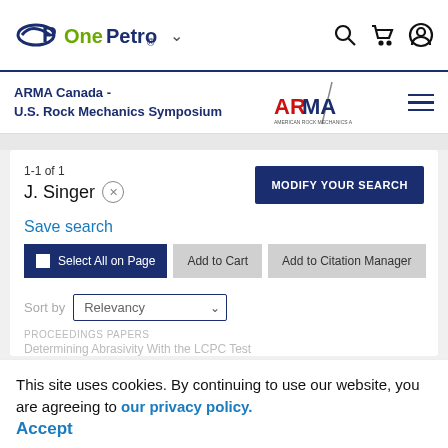OnePetro — navigation bar with search, cart, and user icons
ARMA Canada - U.S. Rock Mechanics Symposium
1-1 of 1
J. Singer ×
MODIFY YOUR SEARCH
Save search
Select All on Page
Add to Cart
Add to Citation Manager
Sort by Relevancy
PROCEEDINGS PAPERS
Determining Abrasivity With the LCPC Test
This site uses cookies. By continuing to use our website, you are agreeing to our privacy policy. Accept